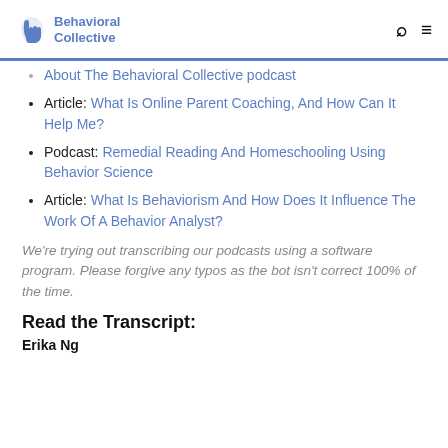Behavioral Collective
About The Behavioral Collective podcast
Article: What Is Online Parent Coaching, And How Can It Help Me?
Podcast: Remedial Reading And Homeschooling Using Behavior Science
Article: What Is Behaviorism And How Does It Influence The Work Of A Behavior Analyst?
We're trying out transcribing our podcasts using a software program. Please forgive any typos as the bot isn't correct 100% of the time.
Read the Transcript:
Erika Ng